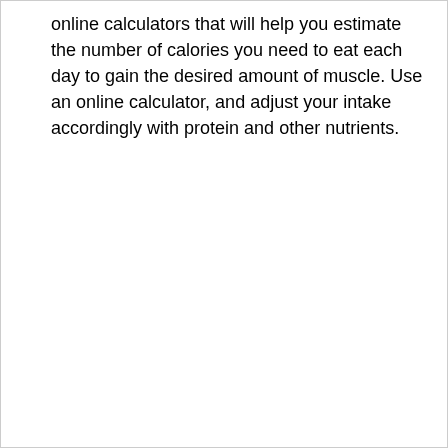online calculators that will help you estimate the number of calories you need to eat each day to gain the desired amount of muscle. Use an online calculator, and adjust your intake accordingly with protein and other nutrients.